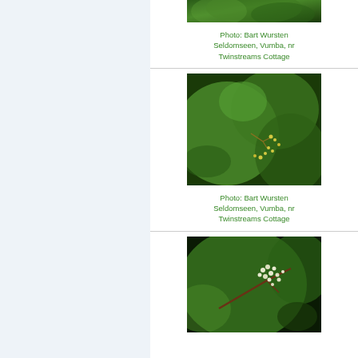[Figure (photo): Close-up photo of plant leaves and small flowers/buds, green foliage, cropped at top of page]
Photo: Bart Wursten Seldomseen, Vumba, nr Twinstreams Cottage
[Figure (photo): Close-up photo of plant with green leaves and small yellowish-green flower clusters]
Photo: Bart Wursten Seldomseen, Vumba, nr Twinstreams Cottage
[Figure (photo): Close-up photo of plant branch with small white flower clusters against green leaves]